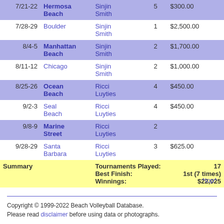| Date | Location | Partner | Finish | Winnings |
| --- | --- | --- | --- | --- |
| 7/21-22 | Hermosa Beach | Sinjin Smith | 5 | $300.00 |
| 7/28-29 | Boulder | Sinjin Smith | 1 | $2,500.00 |
| 8/4-5 | Manhattan Beach | Sinjin Smith | 2 | $1,700.00 |
| 8/11-12 | Chicago | Sinjin Smith | 2 | $1,000.00 |
| 8/25-26 | Ocean Beach | Ricci Luyties | 4 | $450.00 |
| 9/2-3 | Seal Beach | Ricci Luyties | 4 | $450.00 |
| 9/8-9 | Marine Street | Ricci Luyties | 2 |  |
| 9/28-29 | Santa Barbara | Ricci Luyties | 3 | $625.00 |
| Summary |  | Tournaments Played: 17 / Best Finish: 1st (7 times) / Winnings: $22,025 |  |  |
^top^
Copyright © 1999-2022 Beach Volleyball Database. Please read disclaimer before using data or photographs.